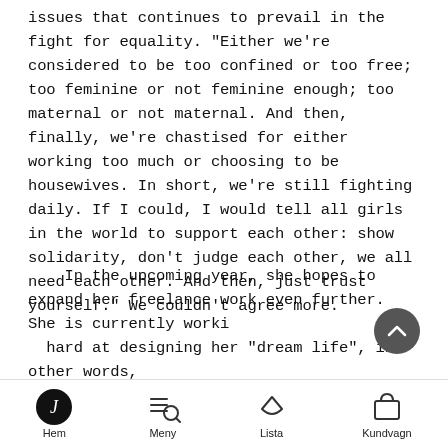issues that continues to prevail in the fight for equality. "Either we're considered to be too confined or too free; too feminine or not feminine enough; too maternal or not maternal. And then, finally, we're chastised for either working too much or choosing to be housewives. In short, we're still fighting daily. If I could, I would tell all girls in the world to support each other: show solidarity, don't judge each other, we all need each other. And then, just trust yourself." We couldn't agree more.
In the upcoming year, she hopes to expand her freelance work even further. She is currently working hard at designing her "dream life", in other words, doing what she wants, managing her own time and
Hem  Meny  Lista  Kundvagn